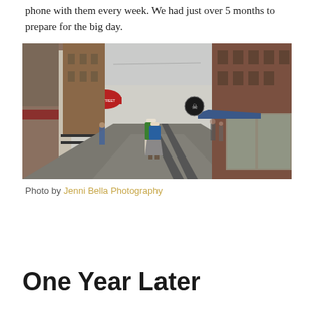phone with them every week. We had just over 5 months to prepare for the big day.
[Figure (photo): Couple embracing on a wet urban street, surrounded by multi-story brick buildings with storefronts and signage including '4th Street Bar & Dine'. The street is empty with reflective wet pavement. Several passersby visible in the background.]
Photo by Jenni Bella Photography
One Year Later